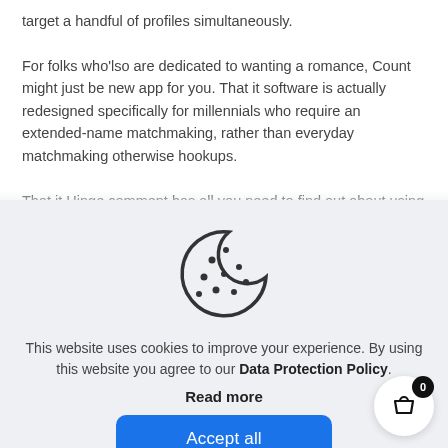target a handful of profiles simultaneously.
For folks who'lso are dedicated to wanting a romance, Count might just be new app for you. That it software is actually redesigned specifically for millennials who require an extended-name matchmaking, rather than everyday matchmaking otherwise hookups.
That it Hinge comment has all you need to find out about using brand new Hinge app!
[Figure (illustration): Cookie icon - a circle with a bite taken out of the top right, decorated with small dots representing chocolate chips]
This website uses cookies to improve your experience. By using this website you agree to our Data Protection Policy.
Read more
Accept all